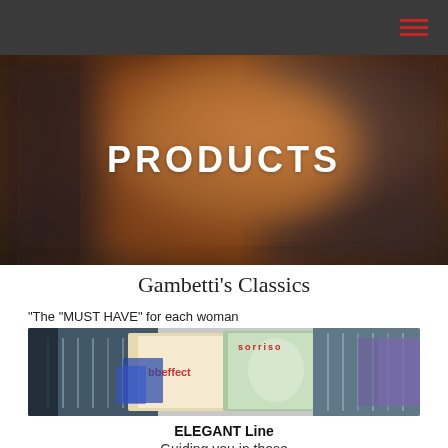[Figure (screenshot): Dark navigation bar with red hamburger menu icon on the right]
[Figure (photo): Blurred warm brown/copper toned hero image with 'PRODUCTS' text overlay in bold white uppercase letters]
Gambetti's Classics
"The "MUST HAVE" for each woman
[Figure (photo): Product image showing fashion magazines/catalogs including 'bbeffect' and 'sorriso' overlaid with a retail clothing rack scene]
ELEGANT Line
Guiding you in those circumstances when